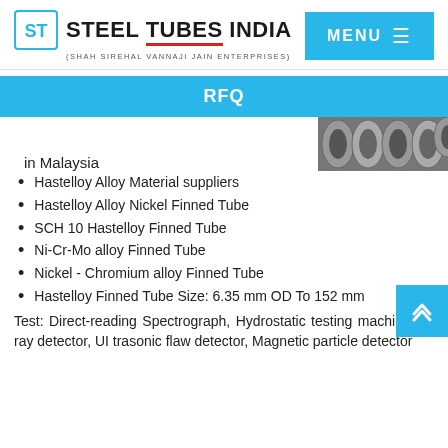[Figure (logo): Steel Tubes India logo with STI icon and tagline (SHAH SIREHAL VANNAJI JAIN ENTERPRISES)]
in Malaysia
[Figure (photo): Photo of steel tubes/pipes from above]
RFQ
Hastelloy Alloy Material suppliers
Hastelloy Alloy Nickel Finned Tube
SCH 10 Hastelloy Finned Tube
Ni-Cr-Mo alloy Finned Tube
Nickel - Chromium alloy Finned Tube
Hastelloy Finned Tube Size: 6.35 mm OD To 152 mm
Test: Direct-reading Spectrograph, Hydrostatic testing machine, X-ray detector, UI trasonic flaw detector, Magnetic particle detector